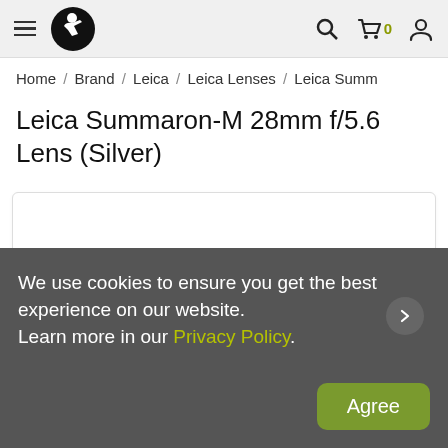Navigation header with hamburger menu, logo, search, cart (0), and account icons
Home / Brand / Leica / Leica Lenses / Leica Summ
Leica Summaron-M 28mm f/5.6 Lens (Silver)
[Figure (photo): Product image area for Leica Summaron-M 28mm f/5.6 Lens (Silver) — white background with rounded border]
We use cookies to ensure you get the best experience on our website. Learn more in our Privacy Policy.
Agree